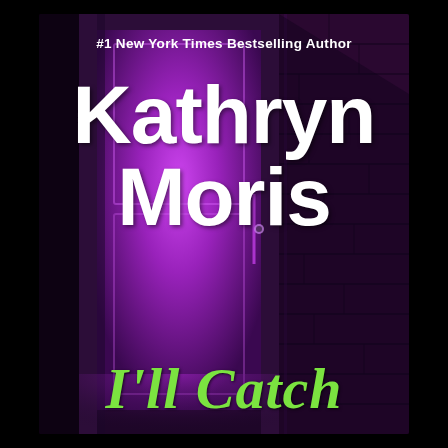[Figure (illustration): Book cover with dark purple-black background showing an open door with bright purple/magenta light shining through it, brick wall visible to the right, creating a dramatic thriller atmosphere]
#1 New York Times Bestselling Author
Kathryn Moris
I'll Catch